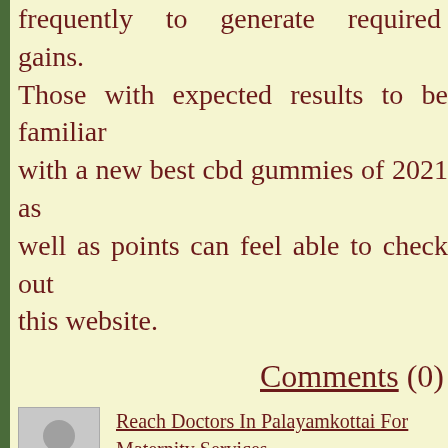frequently to generate required gains. Those with expected results to be familiar with a new best cbd gummies of 2021 as well as points can feel able to check out this website.
Comments (0)
[Figure (illustration): Generic user avatar placeholder - gray silhouette of a person]
Reach Doctors In Palayamkottai For Maternity Services
Posted by hibaclinic Aug 31st
Category: Stories
Tags: best gynacologist near me Doctors In Palayamkottai Hospital Near Me pregnancy doctor in
best gynacologist near me
Doctors In Palayamkottai
Hospital Near Me
pregnancy doctor in